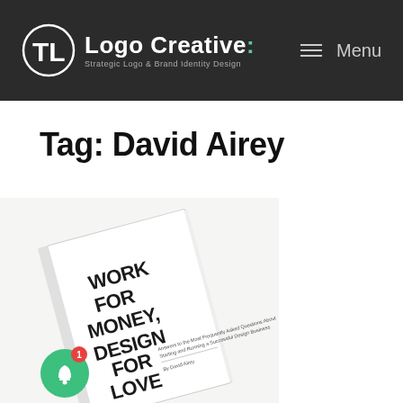Logo Creative: Strategic Logo & Brand Identity Design | Menu
Tag: David Airey
[Figure (photo): Photo of a book titled 'Work For Money, Design For Love' by David Airey, lying on a white surface at a slight angle. The book cover shows bold black text on white background. A green notification bell icon with a red badge showing '1' is visible in the bottom-left corner of the image.]